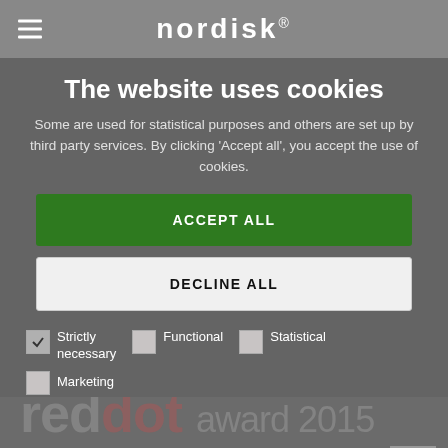nordisk®
The website uses cookies
Some are used for statistical purposes and others are set up by third party services. By clicking 'Accept all', you accept the use of cookies.
ACCEPT ALL
DECLINE ALL
Strictly necessary
Functional
Statistical
Marketing
reddot award 2015 winner
SHOW DETAILS